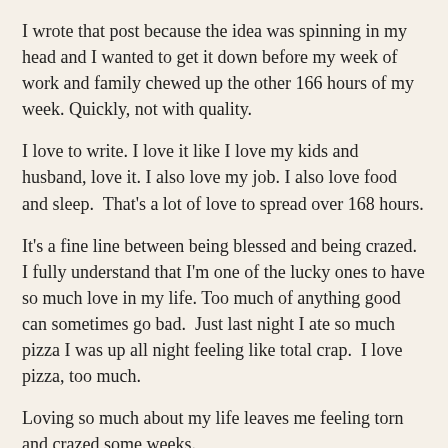I wrote that post because the idea was spinning in my head and I wanted to get it down before my week of work and family chewed up the other 166 hours of my week. Quickly, not with quality.
I love to write. I love it like I love my kids and husband, love it. I also love my job. I also love food and sleep.  That's a lot of love to spread over 168 hours.
It's a fine line between being blessed and being crazed. I fully understand that I'm one of the lucky ones to have so much love in my life. Too much of anything good can sometimes go bad.  Just last night I ate so much pizza I was up all night feeling like total crap.  I love pizza, too much.
Loving so much about my life leaves me feeling torn and crazed some weeks.
What are the things that it's ok to sacrifice and put out a crappy outcome to get it done quickly? Not everything can be done with excellence, all the time. And what are those things that we must narrow our focus and do it really really well?